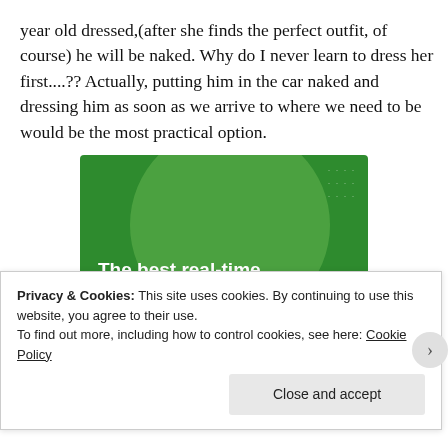year old dressed,(after she finds the perfect outfit, of course) he will be naked. Why do I never learn to dress her first....?? Actually, putting him in the car naked and dressing him as soon as we arrive to where we need to be would be the most practical option.
[Figure (illustration): Green advertisement banner for a WordPress backup plugin. Text reads 'The best real-time WordPress backup plugin' with a button 'Back up your site'.]
Privacy & Cookies: This site uses cookies. By continuing to use this website, you agree to their use.
To find out more, including how to control cookies, see here: Cookie Policy
Close and accept